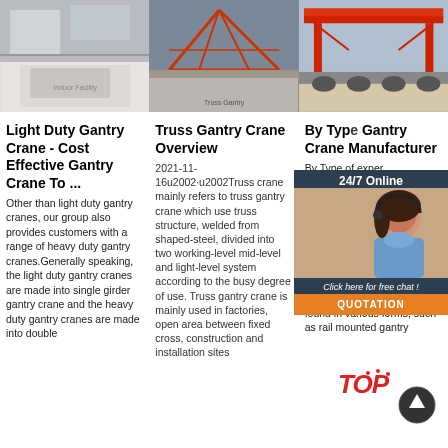[Figure (photo): Indoor crane/gantry facility photo - left]
[Figure (photo): Outdoor gantry crane construction photo - center]
[Figure (photo): Large red gantry crane on transport - right]
Light Duty Gantry Crane - Cost Effective Gantry Crane To ...
Other than light duty gantry cranes, our group also provides customers with a range of heavy duty gantry cranes.Generally speaking, the light duty gantry cranes are made into single girder gantry crane and the heavy duty gantry cranes are made into double
Truss Gantry Crane Overview
2021-11-16u2002·u2002Truss crane mainly refers to truss gantry crane which use truss structure, welded from shaped-steel, divided into two working-level mid-level and light-level system according to the busy degree of use. Truss gantry crane is mainly used in factories, open area between fixed cross, construction and installation sites
By Type Gantry Crane Manufacturer
By Type of experience designing supplying crane e always efficient economical lifting solutions for clients based on their particular needs. Gantry crane lifting systems can be found in various forms, such as rail mounted gantry